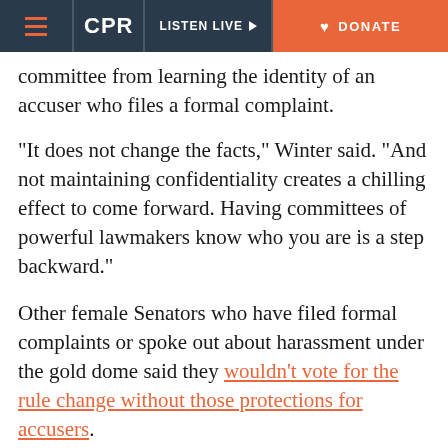CPR | LISTEN LIVE | DONATE
committee from learning the identity of an accuser who files a formal complaint.
“It does not change the facts,” Winter said. “And not maintaining confidentiality creates a chilling effect to come forward. Having committees of powerful lawmakers know who you are is a step backward.”
Other female Senators who have filed formal complaints or spoke out about harassment under the gold dome said they wouldn’t vote for the rule change without those protections for accusers.
Lawmakers are “literally some of the most powerful people in the state,” said Democratic Sen.